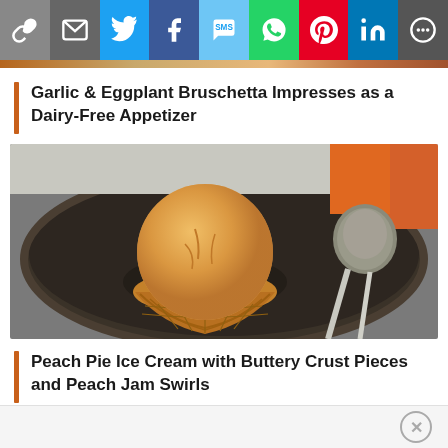[Figure (infographic): Social share bar with icons: link, email, Twitter, Facebook, SMS, WhatsApp, Pinterest, LinkedIn, More]
Garlic & Eggplant Bruschetta Impresses as a Dairy-Free Appetizer
[Figure (photo): Overhead view of a scoop of peach-colored ice cream in a waffle cone bowl on a dark metal plate, with an ice cream scoop utensil to the right and colorful objects in the background]
Peach Pie Ice Cream with Buttery Crust Pieces and Peach Jam Swirls